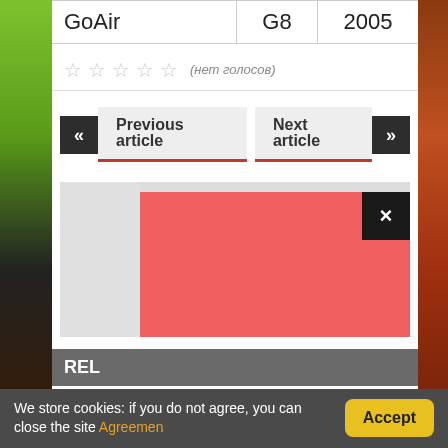|  |  |  |
| --- | --- | --- |
| GoAir | G8 | 2005 |
☆☆☆☆☆ (нет голосов)
« Previous article
Next article »
[Figure (other): Red advertisement overlay with close (×) button]
REL
We store cookies: if you do not agree, you can close the site Agreemen
Accept